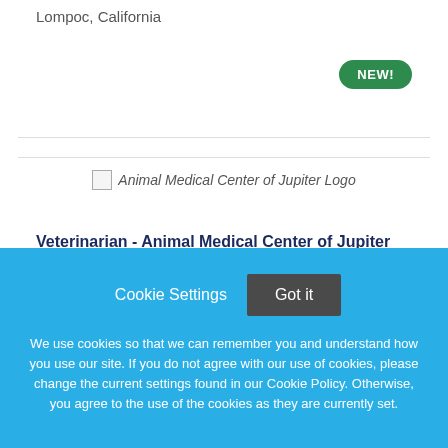Lompoc, California
NEW!
Veterinarian - Animal Medical Center of Jupiter
Animal Medical Center of Jupiter
[Figure (logo): Animal Medical Center of Jupiter Logo]
Cookie Settings   Got it
We use cookies so that we can remember you and understand how you use our site. If you do not agree with our use of cookies, please change the current settings found in our Cookie Policy. Otherwise, you agree to the use of the cookies as they are currently set.